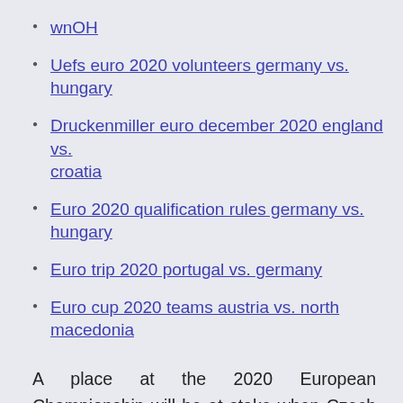wnOH
Uefs euro 2020 volunteers germany vs. hungary
Druckenmiller euro december 2020 england vs. croatia
Euro 2020 qualification rules germany vs. hungary
Euro trip 2020 portugal vs. germany
Euro cup 2020 teams austria vs. north macedonia
A place at the 2020 European Championship will be at stake when Czech Republic and Kosovo face each other at Doosan Arena on Thursday evening. Both national teams have been producing excellent displays in the Euro 2020 qualifiers, but only one will join England in top two in Group A. RTE: Euro 2020: Scotland v